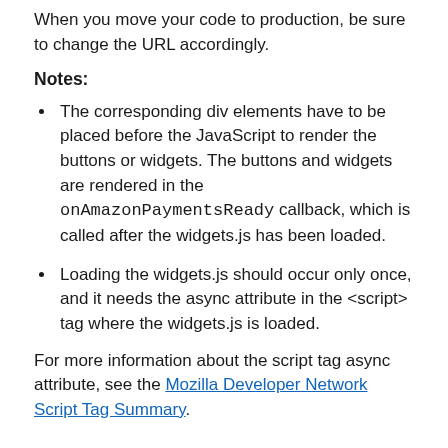When you move your code to production, be sure to change the URL accordingly.
Notes:
The corresponding div elements have to be placed before the JavaScript to render the buttons or widgets. The buttons and widgets are rendered in the onAmazonPaymentsReady callback, which is called after the widgets.js has been loaded.
Loading the widgets.js should occur only once, and it needs the async attribute in the <script> tag where the widgets.js is loaded.
For more information about the script tag async attribute, see the Mozilla Developer Network Script Tag Summary.